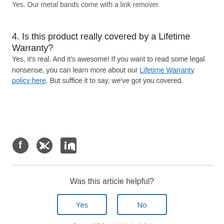Yes. Our metal bands come with a link remover.
4. Is this product really covered by a Lifetime Warranty?
Yes, it's real. And it's awesome! If you want to read some legal nonsense, you can learn more about our Lifetime Warranty policy here. But suffice it to say, we've got you covered.
[Figure (infographic): Social sharing icons: Facebook, Twitter, LinkedIn]
Was this article helpful?
Yes | No (buttons)
0 out of 0 found this helpful